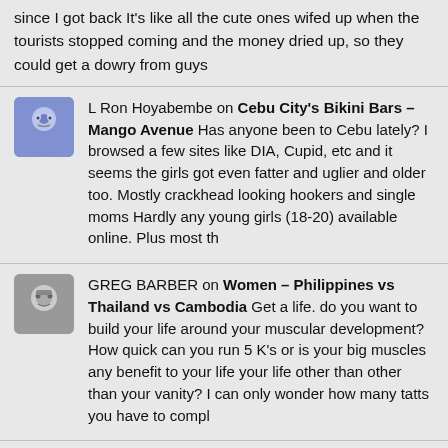since I got back It's like all the cute ones wifed up when the tourists stopped coming and the money dried up, so they could get a dowry from guys
L Ron Hoyabembe on Cebu City's Bikini Bars – Mango Avenue Has anyone been to Cebu lately? I browsed a few sites like DIA, Cupid, etc and it seems the girls got even fatter and uglier and older too. Mostly crackhead looking hookers and single moms Hardly any young girls (18-20) available online. Plus most th
GREG BARBER on Women – Philippines vs Thailand vs Cambodia Get a life. do you want to build your life around your muscular development? How quick can you run 5 K's or is your big muscles any benefit to your life your life other than other than your vanity? I can only wonder how many tatts you have to compl
Mikel on Your Filipina Girlfriend is Cheating last year I met an online dating site girl Monica Lopez from the Philippines and we met. she pretended to be in love, later sent pictures to my relatives and friends and demanded payment. she had filmed me in